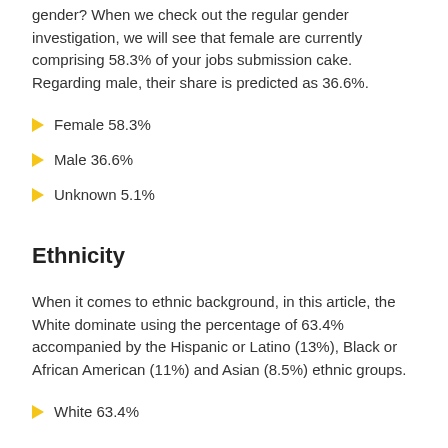gender? When we check out the regular gender investigation, we will see that female are currently comprising 58.3% of your jobs submission cake. Regarding male, their share is predicted as 36.6%.
Female 58.3%
Male 36.6%
Unknown 5.1%
Ethnicity
When it comes to ethnic background, in this article, the White dominate using the percentage of 63.4% accompanied by the Hispanic or Latino (13%), Black or African American (11%) and Asian (8.5%) ethnic groups.
White 63.4%